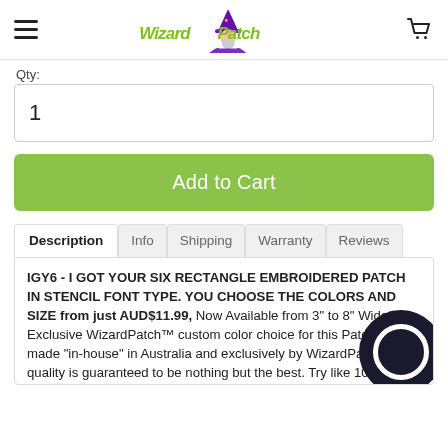[Figure (logo): WizardPatch logo with a wizard character in purple robes and green stylized text]
Qty:
1
Add to Cart
Description | Info | Shipping | Warranty | Reviews
IGY6 - I GOT YOUR SIX RECTANGLE EMBROIDERED PATCH IN STENCIL FONT TYPE. YOU CHOOSE THE COLORS AND SIZE from just AUD$11.99, Now Available from 3" to 8" Wide! Exclusive WizardPatch™ custom color choice for this Patch. All made "in-house" in Australia and exclusively by WizardPatch, the quality is guaranteed to be nothing but the best. Try like 1000's of other happy customers, you will not be disappointed!